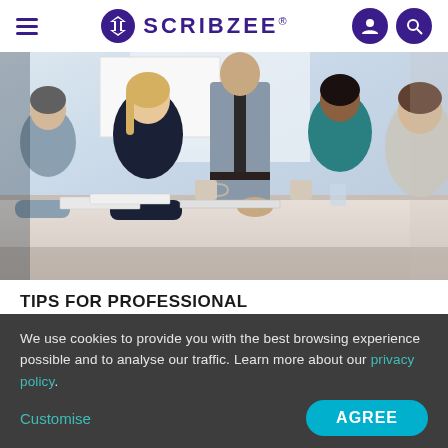SCRIBZEE®
[Figure (photo): Business meeting scene: four people seated around a table with documents, a standing person in grey shirt and tie leaning over the table. Coffee mugs and water glasses visible. Bright office background.]
TIPS FOR PROFESSIONAL
We use cookies to provide you with the best browsing experience possible and to analyse our traffic. Learn more about our privacy policy.
Customise
AGREE